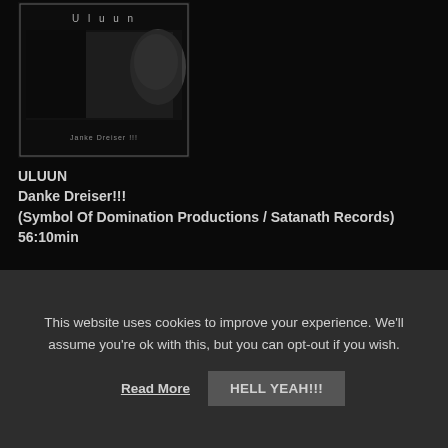[Figure (photo): Album cover for ULUUN 'Danke Dreiser!!!' showing a dark image with a person's face on a black background with text 'Uluun' at top and 'Janke Dreiser !!!' at bottom]
ULUUN
Danke Dreiser!!!
(Symbol Of Domination Productions / Satanath Records)
56:10min
One has to admit that every French Black Metal band that once stood out had a certain queer element to its music, which was also what made this scene so unique. So here's French band ULUUN presenting its debut album "Danke Dreiser!" in its disrupting atmospheric Black Metal form. An oppressive ambience stretches along its nearly one hour of dense passages that vary from mid-paced rhythms to down-tempo ones that suddenly break in. ULUUN delivers a kind of music that drops a desolating mood within it, and it most
This website uses cookies to improve your experience. We'll assume you're ok with this, but you can opt-out if you wish.
Read More   HELL YEAH!!!